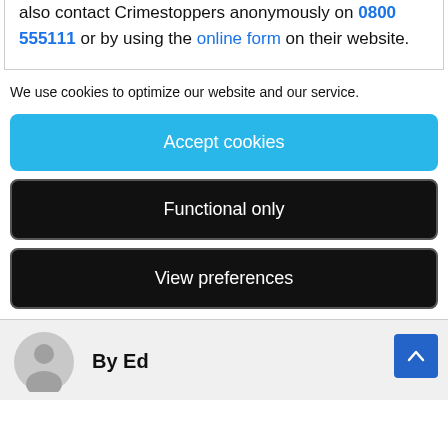also contact Crimestoppers anonymously on 0800 555111 or by using the online form on their website.
We use cookies to optimize our website and our service.
Accept cookies
Functional only
View preferences
By Ed